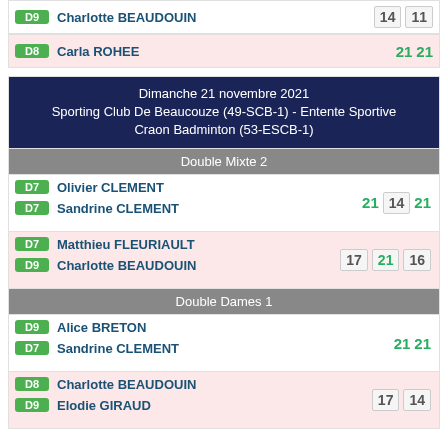| D9 | Charlotte BEAUDOUIN | 14 | 11 |
| D8 | Carla ROHEE | 21 | 21 |
Dimanche 21 novembre 2021
Sporting Club De Beaucouze (49-SCB-1) - Entente Sportive Craon Badminton (53-ESCB-1)
Double Mixte 2
| D7 | Olivier CLEMENT | 21 | 14 | 21 |
| D7 | Sandrine CLEMENT |  |  |  |
| D7 | Matthieu FLEURIAULT | 17 | 21 | 16 |
| D9 | Charlotte BEAUDOUIN |  |  |  |
Double Dames 1
| D9 | Alice BRETON | 21 | 21 |
| D7 | Sandrine CLEMENT |  |  |
| D8 | Charlotte BEAUDOUIN | 17 | 14 |
| D9 | Elodie GIRAUD |  |  |